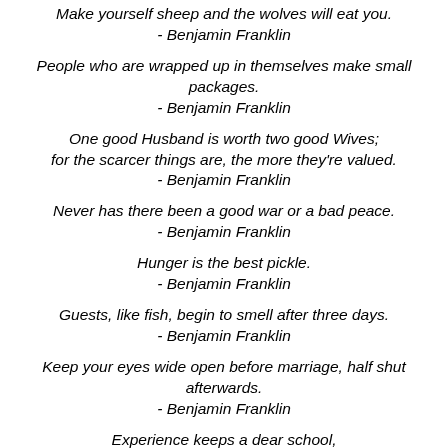Make yourself sheep and the wolves will eat you. - Benjamin Franklin
People who are wrapped up in themselves make small packages. - Benjamin Franklin
One good Husband is worth two good Wives; for the scarcer things are, the more they're valued. - Benjamin Franklin
Never has there been a good war or a bad peace. - Benjamin Franklin
Hunger is the best pickle. - Benjamin Franklin
Guests, like fish, begin to smell after three days. - Benjamin Franklin
Keep your eyes wide open before marriage, half shut afterwards. - Benjamin Franklin
Experience keeps a dear school, but fools will learn in no other. - Benjamin Franklin